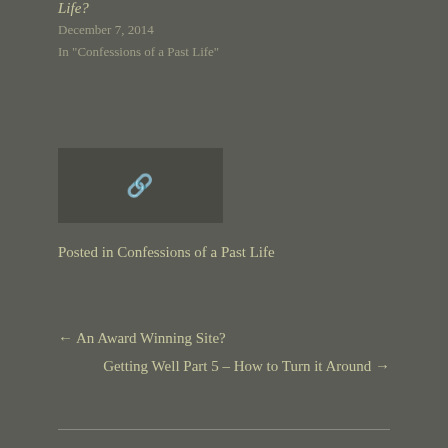Life?
December 7, 2014
In "Confessions of a Past Life"
[Figure (other): Dark box with a chain link icon]
Posted in Confessions of a Past Life
← An Award Winning Site?
Getting Well Part 5 – How to Turn it Around →